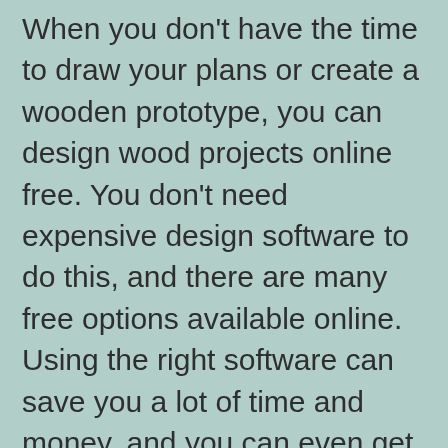When you don't have the time to draw your plans or create a wooden prototype, you can design wood projects online free. You don't need expensive design software to do this, and there are many free options available online. Using the right software can save you a lot of time and money, and you can even get tips from professionals in the field. Using a free program like Inkscape to design your projects will ensure you'll make high-quality wood projects.